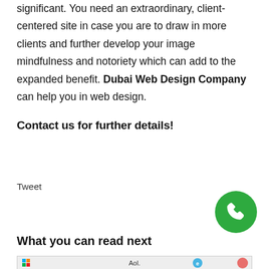significant. You need an extraordinary, client-centered site in case you are to draw in more clients and further develop your image mindfulness and notoriety which can add to the expanded benefit. Dubai Web Design Company can help you in web design.
Contact us for further details!
Tweet
[Figure (illustration): Green circle phone/call button icon]
What you can read next
[Figure (screenshot): Browser logos strip showing various browser icons including Aol. and Internet Explorer]